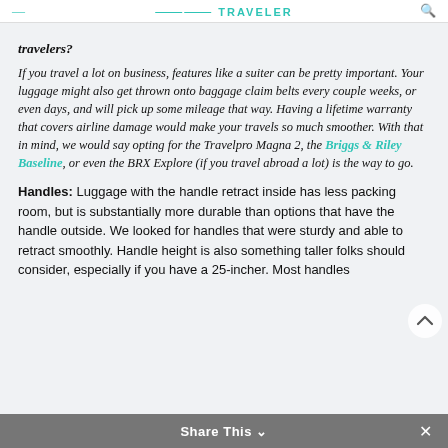TRAVELER
travelers?
If you travel a lot on business, features like a suiter can be pretty important. Your luggage might also get thrown onto baggage claim belts every couple weeks, or even days, and will pick up some mileage that way. Having a lifetime warranty that covers airline damage would make your travels so much smoother. With that in mind, we would say opting for the Travelpro Magna 2, the Briggs & Riley Baseline, or even the BRX Explore (if you travel abroad a lot) is the way to go.
Handles: Luggage with the handle retract inside has less packing room, but is substantially more durable than options that have the handle outside. We looked for handles that were sturdy and able to retract smoothly. Handle height is also something taller folks should consider, especially if you have a 25-incher. Most handles